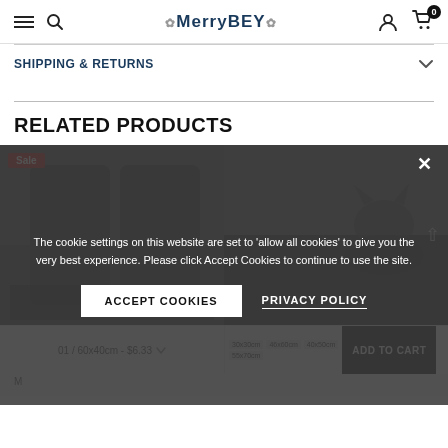MerryBEY — navigation bar with hamburger menu, search, brand logo, user icon, cart (0)
SHIPPING & RETURNS
RELATED PRODUCTS
[Figure (screenshot): Two product images side by side: left shows a car seat mat (with Sale badge), right shows a pet mat with a cat. Cookie consent overlay covering the lower portion of the page.]
The cookie settings on this website are set to 'allow all cookies' to give you the very best experience. Please click Accept Cookies to continue to use the site.
ACCEPT COOKIES
PRIVACY POLICY
01 / 60x40cm - $6.33
ADD TO CART
30x30cm  46x60cm  40x50cm  55x70cm
M